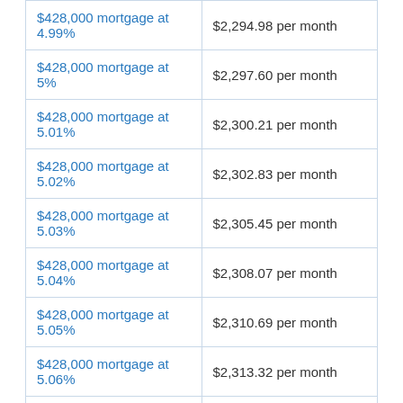| Loan | Payment |
| --- | --- |
| $428,000 mortgage at 4.99% | $2,294.98 per month |
| $428,000 mortgage at 5% | $2,297.60 per month |
| $428,000 mortgage at 5.01% | $2,300.21 per month |
| $428,000 mortgage at 5.02% | $2,302.83 per month |
| $428,000 mortgage at 5.03% | $2,305.45 per month |
| $428,000 mortgage at 5.04% | $2,308.07 per month |
| $428,000 mortgage at 5.05% | $2,310.69 per month |
| $428,000 mortgage at 5.06% | $2,313.32 per month |
| $428,000 mortgage at 5.07% | $2,315.94 per month |
| Loan | Payment |
| --- | --- |
| $428,000 mortgage at 5.09% | $2,321.20 per month |
| $428,000 mortgage at 5.1% | $2,323.83 per month |
| $428,000 mortgage at 5.11% | $2,326.46 per month |